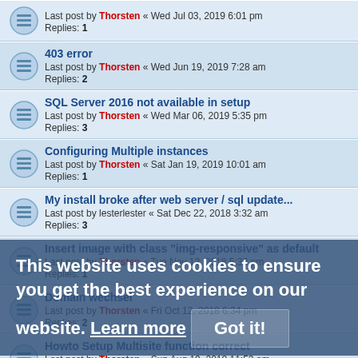Last post by Thorsten « Wed Jul 03, 2019 6:01 pm
Replies: 1
403 error
Last post by Thorsten « Wed Jun 19, 2019 7:28 am
Replies: 2
SQL Server 2016 not available in setup
Last post by Thorsten « Wed Mar 06, 2019 5:35 pm
Replies: 3
Configuring Multiple instances
Last post by Thorsten « Sat Jan 19, 2019 10:01 am
Replies: 1
My install broke after web server / sql update...
Last post by lesterlester « Sat Dec 22, 2018 3:32 am
Replies: 3
Insert image with class "img-responsive" as default
Last post by Thorsten « Tue Nov 13, 2018 5:33 pm
Replies: 1
Domain wechsel
Last post by Thorsten « Fri Oct 12, 2018 6:34 pm
Replies: 2
Howto Setup Multisite function correct
Last post by Thorsten « Sun Aug 19, 2018 11:53 am
Replies: 1
Directories could not be created / not writable
Last post by PeteHanley « Jun 30, 2018 7:27 am
Replies: 6
Tutorial Enable and Config Email in phpmyfaq 2.9.10
Last post by kamolnatchara « Thu Jun 21, 2018 10:57 am
This website uses cookies to ensure you get the best experience on our website. Learn more
Got it!